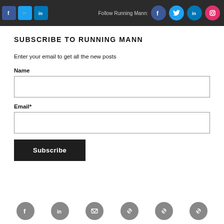Follow Running Mann: [Facebook] [Twitter] [LinkedIn] [Instagram]
SUBSCRIBE TO RUNNING MANN
Enter your email to get all the new posts
Name
Email*
Subscribe
[Facebook] [LinkedIn] [Email] [Link] [Link] [Link]